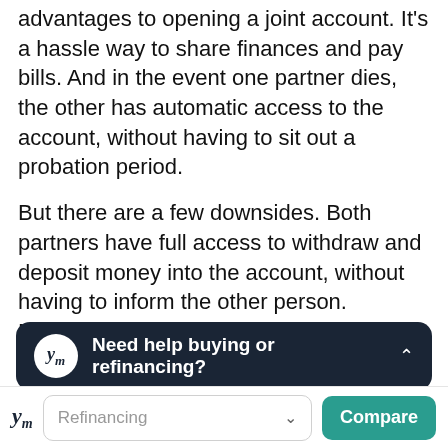advantages to opening a joint account. It's a hassle way to share finances and pay bills. And in the event one partner dies, the other has automatic access to the account, without having to sit out a probation period.
But there are a few downsides. Both partners have full access to withdraw and deposit money into the account, without having to inform the other person. Miscommunication between partners can lead to problems. For instance, one partner makes a purchase, leaving no money left for the other to pay a bill.
As
nothing to stop one person from draining the
[Figure (screenshot): Dark banner overlay with Ym logo and text 'Need help buying or refinancing?' with chevron up icon]
[Figure (screenshot): Bottom navigation bar with Ym logo, Refinancing dropdown selector, and Compare button in teal]